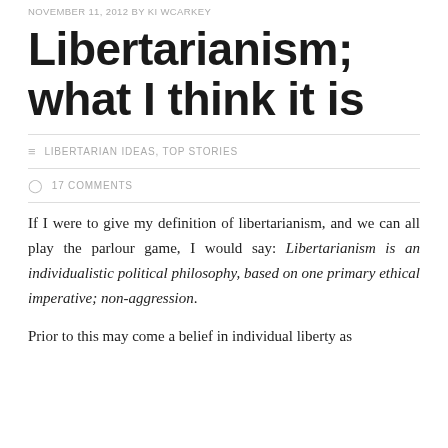NOVEMBER 11, 2012 BY KI WCARKEY
Libertarianism; what I think it is
LIBERTARIAN IDEAS, TOP STORIES
17 COMMENTS
If I were to give my definition of libertarianism, and we can all play the parlour game, I would say: Libertarianism is an individualistic political philosophy, based on one primary ethical imperative; non-aggression.
Prior to this may come a belief in individual liberty as